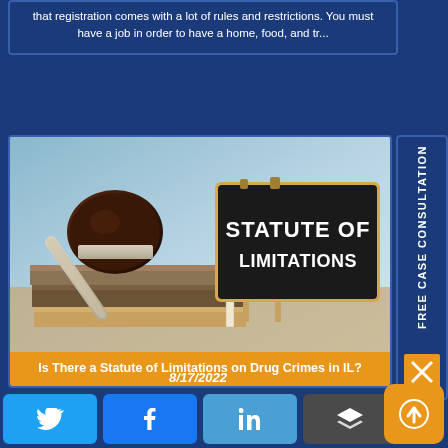that registration comes with a lot of rules and restrictions. You must have a job in order to have a home, food, and tr...
[Figure (photo): Photo of a wooden gavel resting on stacked books, with a black chalkboard sign reading STATUTE OF LIMITATIONS in white bold text]
Is There a Statute of Limitations on Drug Crimes in IL?
8/17/2022
FREE CASE CONSULTATION